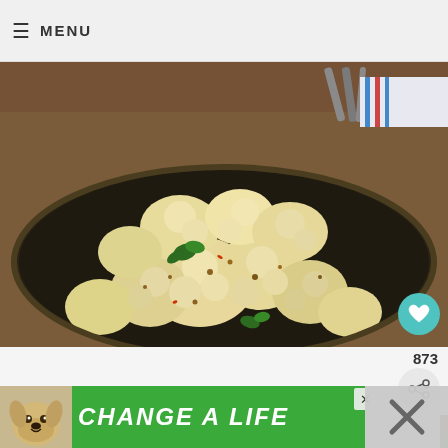≡ MENU
[Figure (photo): Roasted cauliflower florets with herbs and spices on a dark pan, garnished with parsley]
873
[Figure (photo): Raw cauliflower florets on a wooden surface with greens]
[Figure (infographic): WHAT'S NEXT arrow banner with thumbnail and text SPICY TORTILLA...]
[Figure (infographic): Green advertisement banner with dog photo and text CHANGE A LIFE]